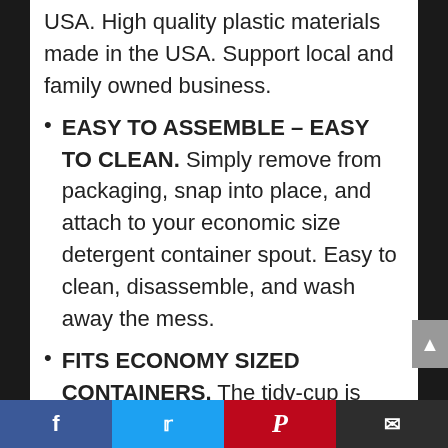USA. High quality plastic materials made in the USA. Support local and family owned business.
EASY TO ASSEMBLE – EASY TO CLEAN. Simply remove from packaging, snap into place, and attach to your economic size detergent container spout. Easy to clean, disassemble, and wash away the mess.
FITS ECONOMY SIZED CONTAINERS. The tidy-cup is designed to fit economy sized liquid detergent and fabric softener container spouts.
REDESIGNED BASED ON FEEDBACK.